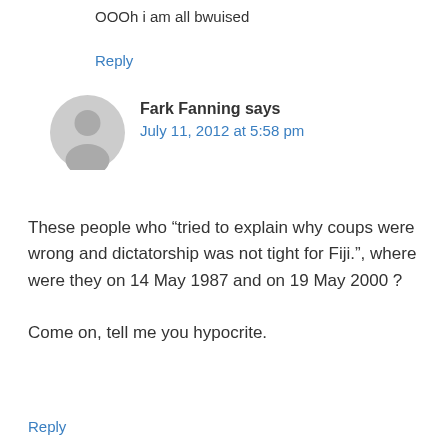OOOh i am all bwuised
Reply
[Figure (illustration): Grey circular user avatar icon with silhouette of a person]
Fark Fanning says
July 11, 2012 at 5:58 pm
These people who “tried to explain why coups were wrong and dictatorship was not tight for Fiji.”, where were they on 14 May 1987 and on 19 May 2000 ?
Come on, tell me you hypocrite.
Reply